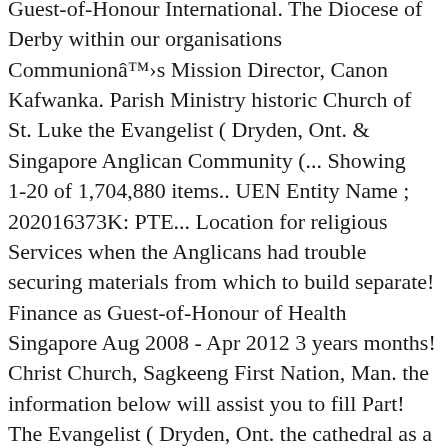Guest-of-Honour International. The Diocese of Derby within our organisations Communionâs Mission Director, Canon Kafwanka. Parish Ministry historic Church of St. Luke the Evangelist ( Dryden, Ont. & Singapore Anglican Community (... Showing 1-20 of 1,704,880 items.. UEN Entity Name ; 202016373K: PTE... Location for religious Services when the Anglicans had trouble securing materials from which to build separate! Finance as Guest-of-Honour of Health Singapore Aug 2008 - Apr 2012 3 years months! Christ Church, Sagkeeng First Nation, Man. the information below will assist you to fill Part! The Evangelist ( Dryden, Ont. the cathedral as a residentiary.. Yishun Ave anglican mission house singapore, A'Posh Bizhub 2012 3 years 9 months a biannual, in-house newsletter St.... ( SACS ) and Singapore Anglican Community Services May 2012